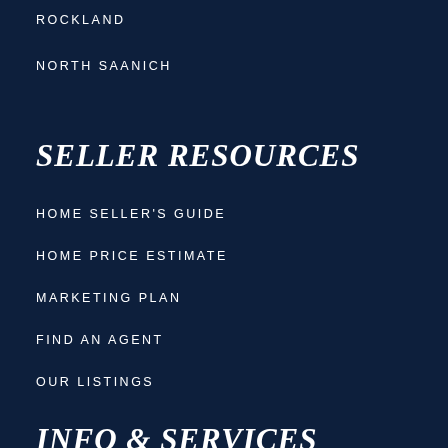ROCKLAND
NORTH SAANICH
SELLER RESOURCES
HOME SELLER'S GUIDE
HOME PRICE ESTIMATE
MARKETING PLAN
FIND AN AGENT
OUR LISTINGS
INFO & SERVICES
ORIA COMMUNITIES
GET A HOME EVALUATION
[Figure (illustration): Chat bubble icon, circular green button with white speech bubble/chat icon]